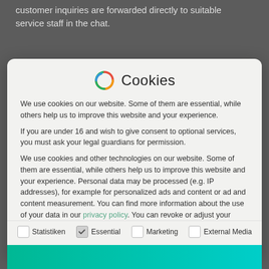customer inquiries are forwarded directly to suitable service staff in the chat.
Cookies
We use cookies on our website. Some of them are essential, while others help us to improve this website and your experience.
If you are under 16 and wish to give consent to optional services, you must ask your legal guardians for permission.
We use cookies and other technologies on our website. Some of them are essential, while others help us to improve this website and your experience. Personal data may be processed (e.g. IP addresses), for example for personalized ads and content or ad and content measurement. You can find more information about the use of your data in our privacy policy. You can revoke or adjust your selection at any time under Settings.
Statistiken
Essential
Marketing
External Media